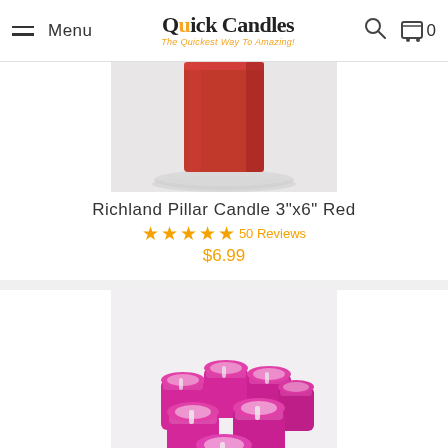Menu | Quick Candles - The Quickest Way To Amazing! | Search | Cart 0
[Figure (photo): Red pillar candle on a glass plate, white background, top portion cropped]
Richland Pillar Candle 3"x6" Red
★★★★★ 50 Reviews
$6.99
[Figure (photo): Six hot pink glass votive holders with white candles arranged in a cluster on white background]
Eastland Votive Holder Pink Set of 12